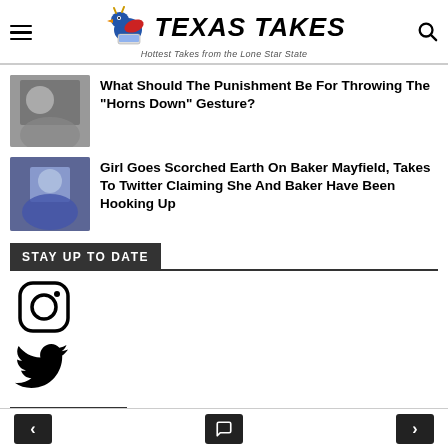Texas Takes — Hottest Takes from the Lone Star State
What Should The Punishment Be For Throwing The "Horns Down" Gesture?
Girl Goes Scorched Earth On Baker Mayfield, Takes To Twitter Claiming She And Baker Have Been Hooking Up
STAY UP TO DATE
[Figure (logo): Instagram logo icon]
[Figure (logo): Twitter bird logo icon]
CATEGORIES